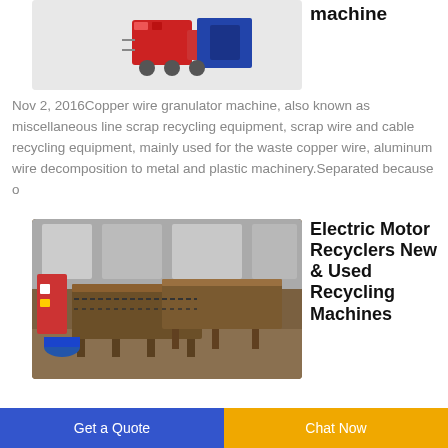[Figure (photo): Copper wire granulator machine with red and blue mechanical components visible against white background]
machine
Nov 2, 2016Copper wire granulator machine, also known as miscellaneous line scrap recycling equipment, scrap wire and cable recycling equipment, mainly used for the waste copper wire, aluminum wire decomposition to metal and plastic machinery.Separated because o
[Figure (photo): Industrial recycling machines in a factory setting — electric motor recycler conveyor tables in a warehouse]
Electric Motor Recyclers New & Used Recycling Machines
Get a Quote
Chat Now